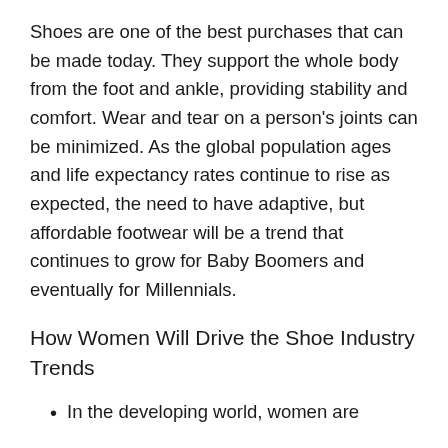Shoes are one of the best purchases that can be made today. They support the whole body from the foot and ankle, providing stability and comfort. Wear and tear on a person's joints can be minimized. As the global population ages and life expectancy rates continue to rise as expected, the need to have adaptive, but affordable footwear will be a trend that continues to grow for Baby Boomers and eventually for Millennials.
How Women Will Drive the Shoe Industry Trends
In the developing world, women are